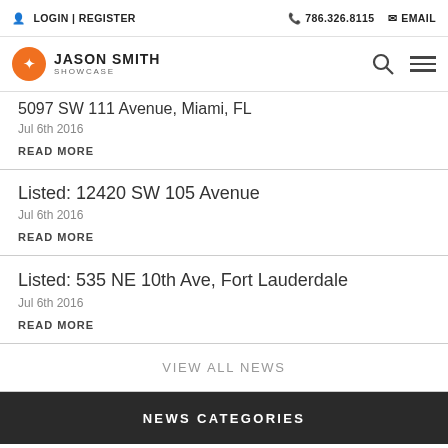LOGIN | REGISTER    786.326.8115    EMAIL
[Figure (logo): Jason Smith Showcase logo — orange circle with bird icon, JASON SMITH SHOWCASE text]
5097 SW 111 Avenue, Miami, FL
Jul 6th 2016
READ MORE
Listed: 12420 SW 105 Avenue
Jul 6th 2016
READ MORE
Listed: 535 NE 10th Ave, Fort Lauderdale
Jul 6th 2016
READ MORE
VIEW ALL NEWS
NEWS CATEGORIES
Brickell